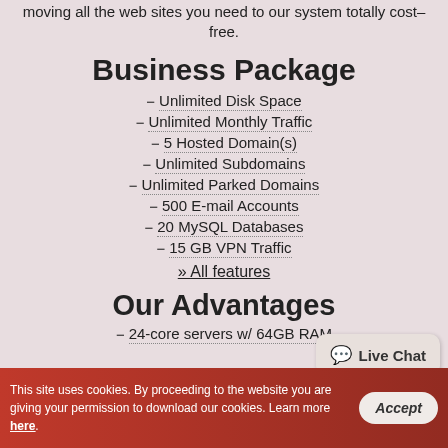moving all the web sites you need to our system totally cost–free.
Business Package
Unlimited Disk Space
Unlimited Monthly Traffic
5 Hosted Domain(s)
Unlimited Subdomains
Unlimited Parked Domains
500 E-mail Accounts
20 MySQL Databases
15 GB VPN Traffic
» All features
Our Advantages
24-core servers w/ 64GB RAM
[Figure (other): Live Chat bubble button in bottom right corner]
This site uses cookies. By proceeding to the website you are giving your permission to download our cookies. Learn more here.